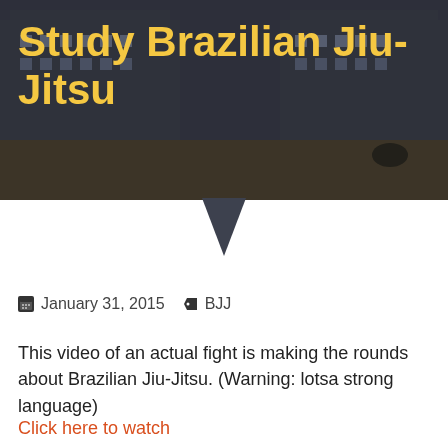[Figure (photo): Hero image of a campus building in a dark/muted background with a large yellow bold title 'Study Brazilian Jiu-Jitsu' overlaid]
Study Brazilian Jiu-Jitsu
January 31, 2015   BJJ
This video of an actual fight is making the rounds about Brazilian Jiu-Jitsu. (Warning: lotsa strong language)
Click here to watch